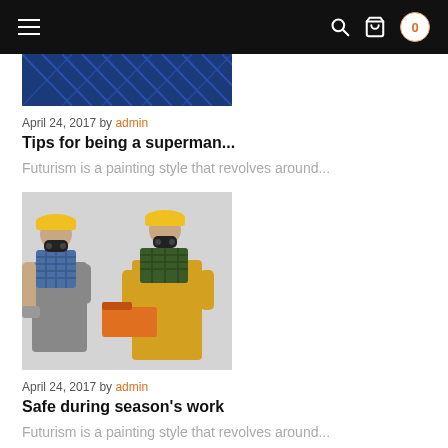Navigation bar with hamburger menu, search, cart (0)
[Figure (photo): Partial blue patterned image at the top of first article]
April 24, 2017 by admin
Tips for being a superman...
Futurism is a painting style that revolves around...
[Figure (photo): Two construction workers wearing yellow hard hats and respirator masks, one in blue plaid shirt and grey overalls, one in yellow overalls, reviewing documents]
April 24, 2017 by admin
Safe during season's work
Futurism is a painting style that revolves around...